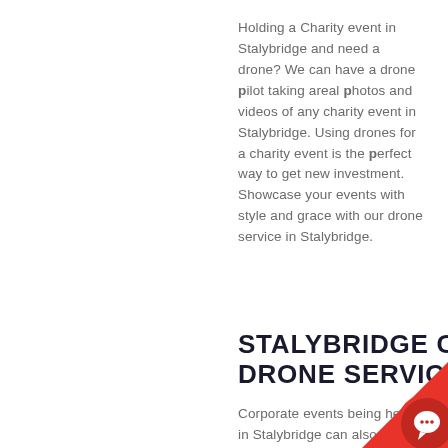Holding a Charity event in Stalybridge and need a drone? We can have a drone pilot taking areal photos and videos of any charity event in Stalybridge. Using drones for a charity event is the perfect way to get new investment. Showcase your events with style and grace with our drone service in Stalybridge.
STALYBRIDGE CORPORATE DRONE SERVICE
Corporate events being held in Stalybridge can also